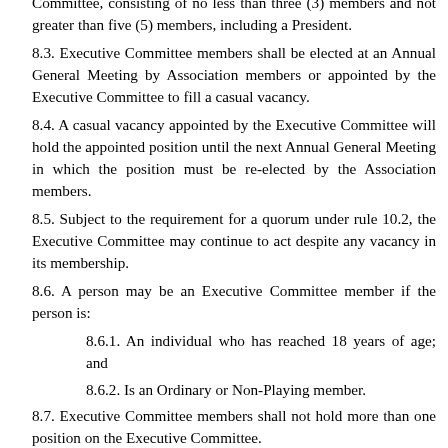Committee, consisting of no less than three (3) members and not greater than five (5) members, including a President.
8.3. Executive Committee members shall be elected at an Annual General Meeting by Association members or appointed by the Executive Committee to fill a casual vacancy.
8.4. A casual vacancy appointed by the Executive Committee will hold the appointed position until the next Annual General Meeting in which the position must be re-elected by the Association members.
8.5. Subject to the requirement for a quorum under rule 10.2, the Executive Committee may continue to act despite any vacancy in its membership.
8.6. A person may be an Executive Committee member if the person is:
8.6.1. An individual who has reached 18 years of age; and
8.6.2. Is an Ordinary or Non-Playing member.
8.7. Executive Committee members shall not hold more than one position on the Executive Committee.
8.8. Members of the Executive Committee will act in an honorary capacity and will not receive any